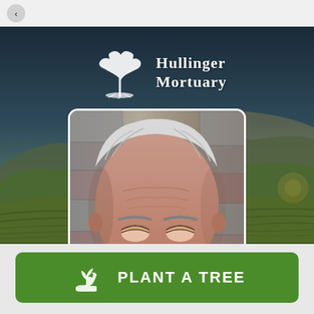[Figure (screenshot): Mobile app navigation bar with a back arrow button on light grey background]
[Figure (photo): Hullinger Mortuary hero banner with rolling green hills landscape background, twilight sky, white tree logo and Old English text 'Hullinger Mortuary', and a portrait photo of an elderly man with white hair cropped to show forehead and eyes, framed with rounded corners]
Hullinger Mortuary
[Figure (illustration): Green rounded rectangle button with a white hand holding a seedling plant icon and bold white text 'PLANT A TREE']